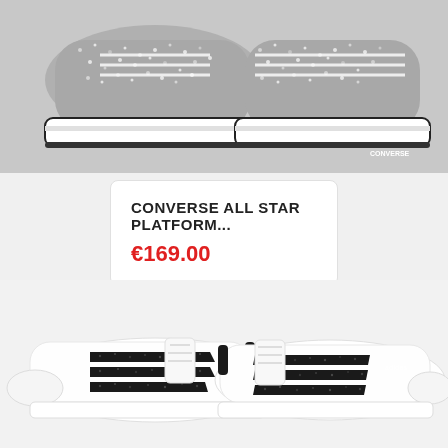[Figure (photo): Close-up photo of silver glitter Converse All Star platform sneakers, showing the toe and sole area against a white background]
CONVERSE ALL STAR PLATFORM...
€169.00
[Figure (photo): Photo of white Adidas Superstar sneakers with black glitter stripes, shown as a pair on a white background]